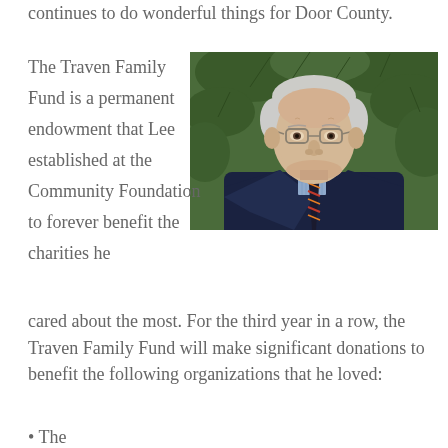continues to do wonderful things for Door County.
The Traven Family Fund is a permanent endowment that Lee established at the Community Foundation to forever benefit the charities he cared about the most. For the third year in a row, the Traven Family Fund will make significant donations to benefit the following organizations that he loved:
[Figure (photo): Portrait photo of an elderly man with white/grey hair, wearing glasses, a dark navy suit jacket, light blue checked shirt, and a dark tie with red/orange diagonal stripes. He is smiling slightly and standing in front of green conifer/pine tree foliage background.]
The [continues below]